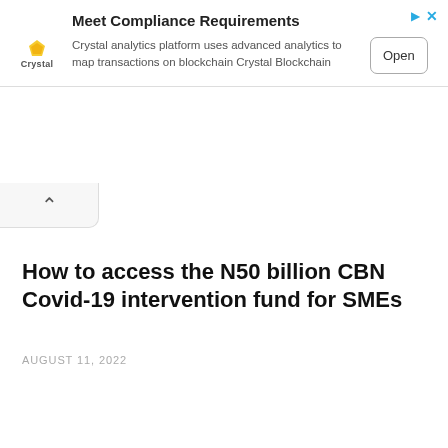[Figure (infographic): Advertisement banner for Crystal Blockchain analytics platform. Shows Crystal logo (diamond icon + Crystal text), headline 'Meet Compliance Requirements', description text, and an 'Open' button. Top-right has triangular ad indicator and close X button.]
^
(collapse tab)
How to access the N50 billion CBN Covid-19 intervention fund for SMEs
AUGUST 11, 2022